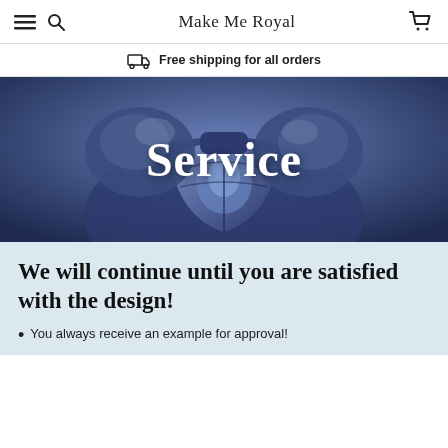Make Me Royal
Free shipping for all orders
[Figure (illustration): Dark blue armored knight/warrior illustration with the word 'Service' overlaid in large white text]
We will continue until you are satisfied with the design!
You always receive an example for approval!